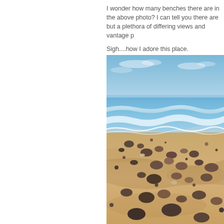I wonder how many benches there are in the above photo? I can tell you there are but a plethora of differing views and vantage p

Sigh....how I adore this place.
[Figure (photo): A beach scene with wet sand scattered with smooth dark pebbles/rocks in the foreground, ocean waves breaking on shore in the middle ground, and a blue sky with light clouds in the background.]